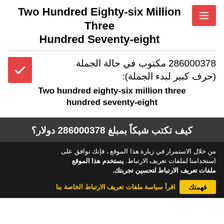Two Hundred Eighty-six Million Three Hundred Seventy-eight
286000378 مكتوب في حالة الجملة (حرف كبير لبدء الجملة):
Two hundred eighty-six million three hundred seventy-eight
كيف تكتب شيكاً بمبلغ 286000378 دولار؟
من خلال الاستمرار في زيارة هذا الموقع ، فإنك توافق على استخدامنا لملفات تعريف الارتباط. يستخدم هذا الموقع ملفات تعريف الارتباط لتحسين تجربتك.
اقرأ سياسة ملفات تعريف الارتباط الخاصة بنا   فهمتك